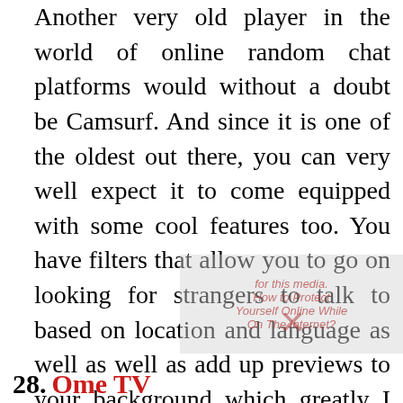Another very old player in the world of online random chat platforms would without a doubt be Camsurf. And since it is one of the oldest out there, you can very well expect it to come equipped with some cool features too. You have filters that allow you to go on looking for strangers to talk to based on location and language as well as add up previews to your background which greatly I would say enhances the attractiveness of your profile all together and bring a good impression.
28. Ome TV